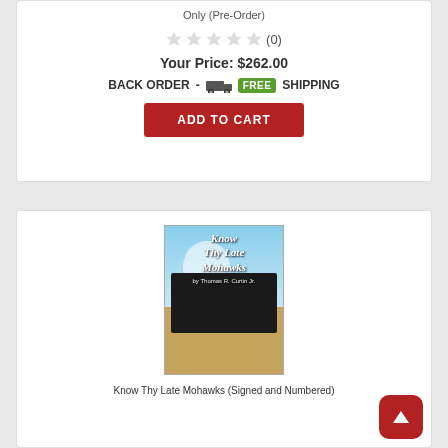Only (Pre-Order)
(0)
Your Price: $262.00
BACK ORDER - FREE SHIPPING
ADD TO CART
[Figure (photo): Book cover of 'Know Thy Late Mohawks' showing a steam locomotive with smoke, blue sky background, and text in gothic font]
Know Thy Late Mohawks (Signed and Numbered)